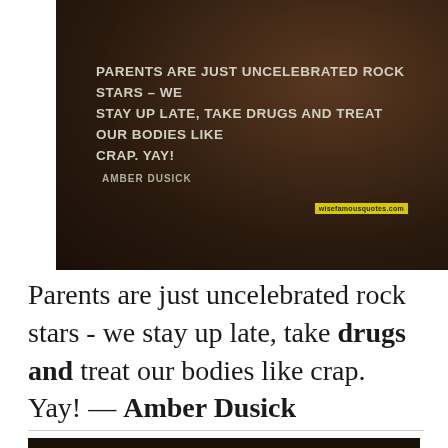[Figure (photo): Dark brown toned background image with quote text overlay. Quote reads: PARENTS ARE JUST UNCELEBRATED ROCK STARS - WE STAY UP LATE, TAKE DRUGS AND TREAT OUR BODIES LIKE CRAP. YAY! AMBER DUSICK. Watermark: wisefamousquotes.com]
Parents are just uncelebrated rock stars - we stay up late, take drugs and treat our bodies like crap. Yay! — Amber Dusick
[Figure (photo): Dark image, partially visible at bottom of page]